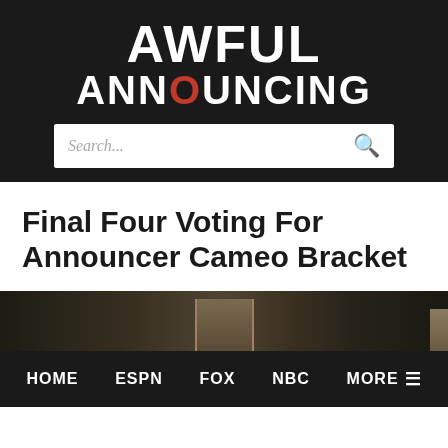AWFUL ANNOUNCING
Search...
Final Four Voting For Announcer Cameo Bracket
[Figure (photo): Dark background image strip showing what appears to be a stadium or arena setting]
HOME  ESPN  FOX  NBC  MORE